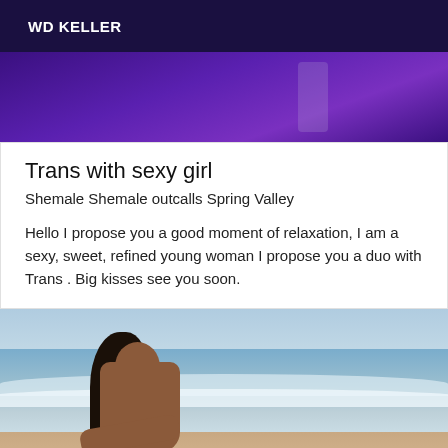WD KELLER
[Figure (photo): Purple background image, partial view at top of listing]
Trans with sexy girl
Shemale Shemale outcalls Spring Valley
Hello I propose you a good moment of relaxation, I am a sexy, sweet, refined young woman I propose you a duo with Trans . Big kisses see you soon.
[Figure (photo): Woman with long dark hair sitting by the ocean/beach, viewed from behind/side, waves in background]